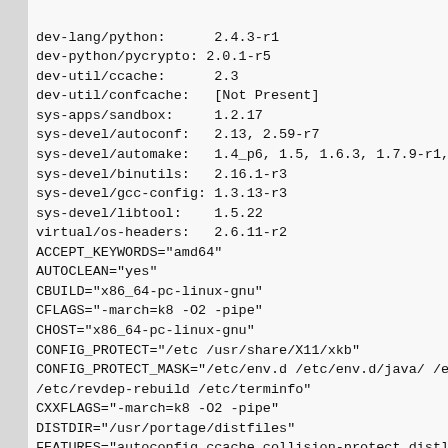dev-lang/python:      2.4.3-r1
dev-python/pycrypto: 2.0.1-r5
dev-util/ccache:      2.3
dev-util/confcache:   [Not Present]
sys-apps/sandbox:     1.2.17
sys-devel/autoconf:   2.13, 2.59-r7
sys-devel/automake:   1.4_p6, 1.5, 1.6.3, 1.7.9-r1, 1
sys-devel/binutils:   2.16.1-r3
sys-devel/gcc-config: 1.3.13-r3
sys-devel/libtool:    1.5.22
virtual/os-headers:   2.6.11-r2
ACCEPT_KEYWORDS="amd64"
AUTOCLEAN="yes"
CBUILD="x86_64-pc-linux-gnu"
CFLAGS="-march=k8 -O2 -pipe"
CHOST="x86_64-pc-linux-gnu"
CONFIG_PROTECT="/etc /usr/share/X11/xkb"
CONFIG_PROTECT_MASK="/etc/env.d /etc/env.d/java/ /etc
/etc/revdep-rebuild /etc/terminfo"
CXXFLAGS="-march=k8 -O2 -pipe"
DISTDIR="/usr/portage/distfiles"
FEATURES="autoconfig ccache collision-protect distlo
strict parallel-fetch sandbox sfperms strict test"
GENTOO_MIRRORS="ftp://linux.rz.ruhr-uni-bochum.de/ge
erlangen.de/pub/mirrors/gentoo ftp://ftp.join.uni-
muenster.de/pub/linux/distributions/gentoo ftp://ftp
dresden.de/pub/mirrors/gentoo ftp://ftp.join.uni-
muenster.de/pub/linux/distributions/gentoo ftp://ftp
esslingen.de/pub/Mirrors/gentoo/ ftp://ftp.gentoo.me
ftp://pandemonium.tiscali.de/pub/gentoo/ "